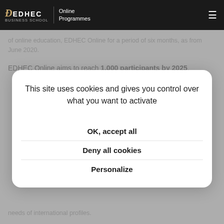EDHEC BUSINESS SCHOOL | Online Programmes
of online education, EDHEC Online for a period of six months, as from June 2020.
EDHEC Online aims to reach 1,000 participants by 2025.
This site uses cookies and gives you control over what you want to activate
OK, accept all
Deny all cookies
Personalize
needs of international profiles.